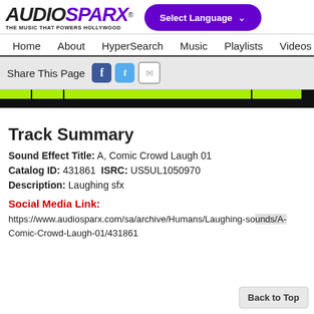[Figure (logo): AudioSparx logo with tagline 'THE MUSIC THAT POWERS HOLLYWOOD' and a purple Select Language dropdown]
Home  About  HyperSearch  Music  Playlists  Videos  Sound
Share This Page [Facebook icon] [Twitter icon] [Email icon]
[Figure (infographic): Green segmented bar over black bar (audio progress/player bar)]
Track Summary
Sound Effect Title: A, Comic Crowd Laugh 01
Catalog ID: 431861  ISRC: US5UL1050970
Description: Laughing sfx
Social Media Link:
https://www.audiosparx.com/sa/archive/Humans/Laughing-sounds/A-Comic-Crowd-Laugh-01/431861